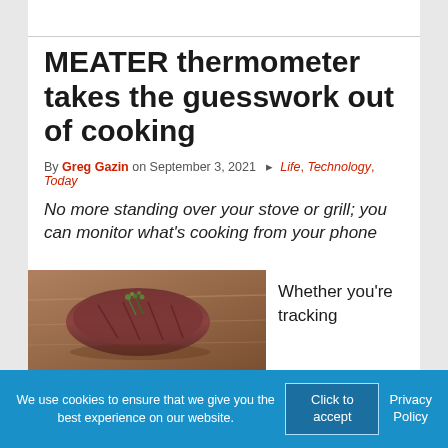MEATER thermometer takes the guesswork out of cooking
By Greg Gazin on September 3, 2021  Life, Technology, Today
No more standing over your stove or grill; you can monitor what's cooking from your phone
[Figure (photo): Photo of sliced meat with herbs on a wooden surface]
Whether you're tracking
We use cookies to ensure that we give you the best experience on our website. Click to accept  Privacy Policy